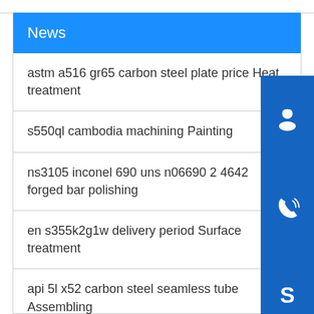News
astm a516 gr65 carbon steel plate price Heat treatment
s550ql cambodia machining Painting
ns3105 inconel 690 uns n06690 2 4642 forged bar polishing
en s355k2g1w delivery period Surface treatment
api 5l x52 carbon steel seamless tube Assembling
cold drawn 304 316 stainless steel decorative pipe Milling
[Figure (illustration): Customer service headset icon, phone call icon, and Skype icon — three blue square icons stacked vertically on the right side]